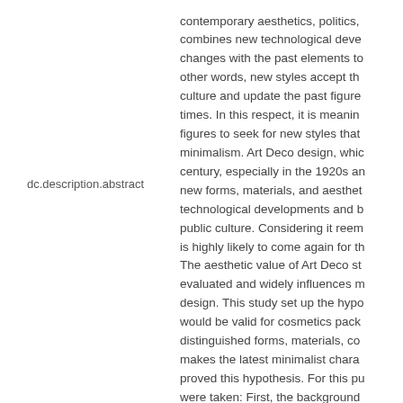dc.description.abstract
contemporary aesthetics, politics, combines new technological developments changes with the past elements to other words, new styles accept the culture and update the past figures times. In this respect, it is meaning figures to seek for new styles that minimalism. Art Deco design, which century, especially in the 1920s and new forms, materials, and aesthetics technological developments and public culture. Considering it reemergence is highly likely to come again for the The aesthetic value of Art Deco style evaluated and widely influences modern design. This study set up the hypothesis would be valid for cosmetics packaging distinguished forms, materials, colors makes the latest minimalist characteristics proved this hypothesis. For this purpose were taken: First, the background examined to define the concept of design characteristics from various cosmetics packaging from the time and classified to see how cosmetics Deco elements have changed with Korea's cosmetics packaging and were analyzed and the validity of.